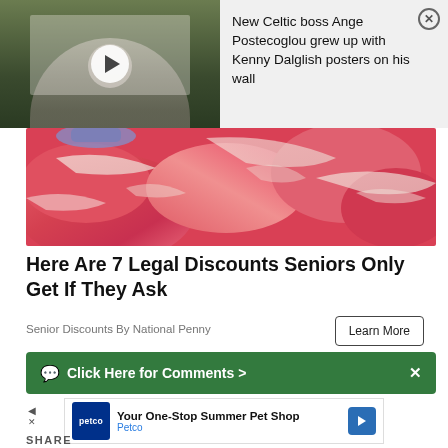[Figure (screenshot): Video thumbnail showing a man in a white shirt against a dark green background, with a white play button circle overlay. Overlay card on right shows headline text.]
New Celtic boss Ange Postecoglou grew up with Kenny Dalglish posters on his wall
[Figure (photo): Close-up photo of raw red meat cuts with a blue-gloved hand visible in the upper left corner.]
Here Are 7 Legal Discounts Seniors Only Get If They Ask
Senior Discounts By National Penny
Learn More
Click Here for Comments >
[Figure (screenshot): Petco advertisement banner: 'Your One-Stop Summer Pet Shop' with Petco logo and a blue arrow icon on the right.]